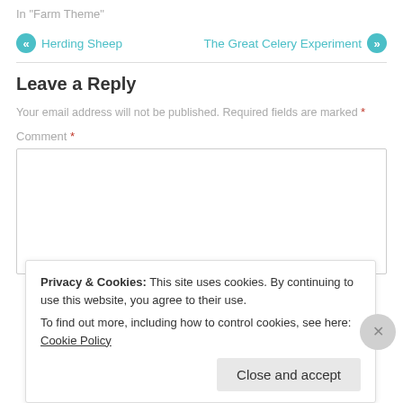In "Farm Theme"
« Herding Sheep
The Great Celery Experiment »
Leave a Reply
Your email address will not be published. Required fields are marked *
Comment *
Privacy & Cookies: This site uses cookies. By continuing to use this website, you agree to their use.
To find out more, including how to control cookies, see here: Cookie Policy
Close and accept